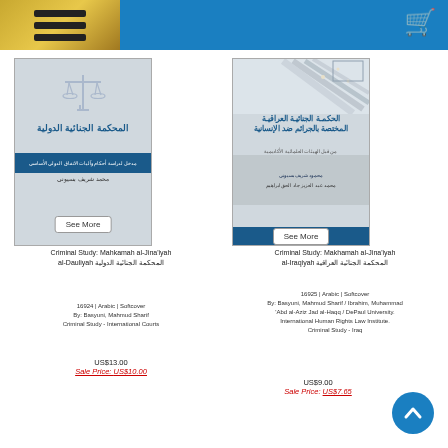[Figure (screenshot): Navigation header with hamburger menu on gold background and shopping cart icon on blue background]
[Figure (photo): Book cover: Criminal Study Mahkamah al-Jina'iyah al-Dauliyah - International Criminal Court, Arabic book with scales of justice icon]
Criminal Study: Mahkamah al-Jina'iyah al-Dauliyah المحكمة الجنائية الدولية
16924 | Arabic | Softcover
By: Basyuni, Mahmud Sharif
Criminal Study - International Courts
US$13.00
Sale Price: US$10.00
[Figure (photo): Book cover: Criminal Study Makhamah al-Jina'iyah al-Iraqiyah - Iraqi Criminal Court, Arabic book with diagonal lines graphic]
Criminal Study: Makhamah al-Jina'iyah al-Iraqiyah المحكمة الجنائية العراقية
16925 | Arabic | Softcover
By: Basyuni, Mahmud Sharif / Ibrahim, Muhammad 'Abd al-Aziz Jad al-Haqq / DePaul University. International Human Rights Law Institute.
Criminal Study - Iraq
US$9.00
Sale Price: US$7.65